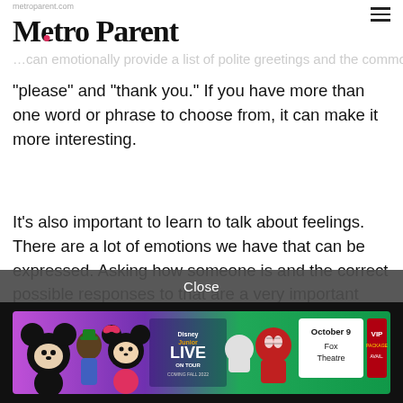Metro Parent
“please” and “thank you.” If you have more than one word or phrase to choose from, it can make it more interesting.
It’s also important to learn to talk about feelings. There are a lot of emotions we have that can be expressed. Asking how someone is and the correct possible responses to that are a very important part of the language.
[Figure (screenshot): Disney Junior Live On Tour advertisement banner featuring Mickey Mouse, Goofy, Minnie Mouse, Spidey and friends characters. Shows October 9 at Fox Theatre with VIP option.]